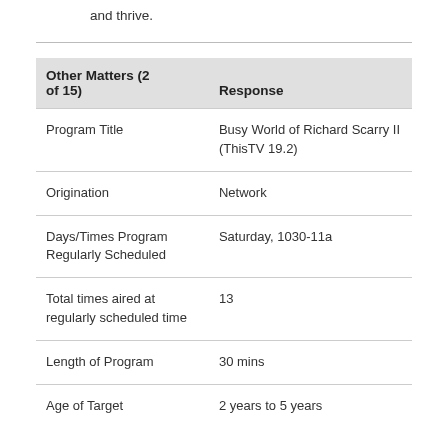and thrive.
| Other Matters (2 of 15) | Response |
| --- | --- |
| Program Title | Busy World of Richard Scarry II (ThisTV 19.2) |
| Origination | Network |
| Days/Times Program Regularly Scheduled | Saturday, 1030-11a |
| Total times aired at regularly scheduled time | 13 |
| Length of Program | 30 mins |
| Age of Target | 2 years to 5 years |